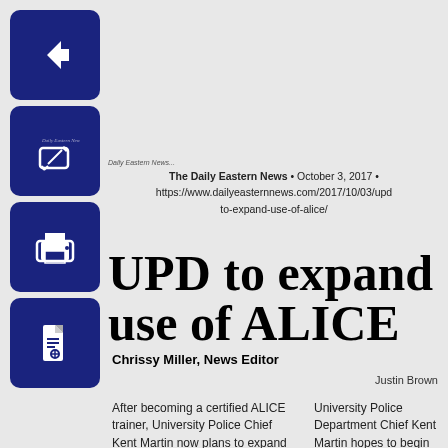[Figure (other): Back arrow navigation button (dark blue square with white left arrow)]
[Figure (other): Edit/share icon button (dark blue square with white pencil/edit icon)]
[Figure (other): Print icon button (dark blue square with white printer icon)]
[Figure (other): PDF/document icon button (dark blue square with white document icon)]
The Daily Eastern News • October 3, 2017 • https://www.dailyeasternnews.com/2017/10/03/upd-to-expand-use-of-alice/
UPD to expand use of ALICE
Chrissy Miller, News Editor
Justin Brown
After becoming a certified ALICE trainer, University Police Chief Kent Martin now plans to expand the use of the program throughout the campus community.
University Police Department Chief Kent Martin hopes to begin training of ALICE, an active shooter response program on the campus of Eastern. The program, according to its website is the No. 1 active shooter civilian response training for organizations. Martin said you does not have to look far